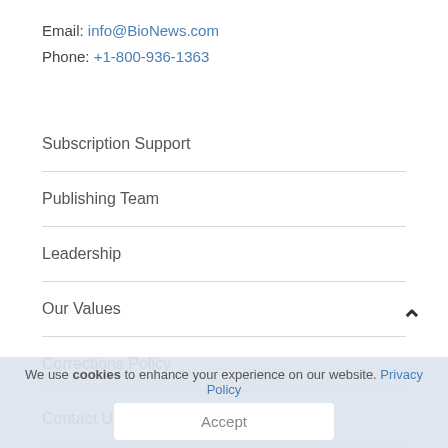Email: info@BioNews.com
Phone: +1-800-936-1363
Subscription Support
Publishing Team
Leadership
Our Values
Corrections Policy
Contact Us
Terms of Service
We use cookies to enhance your experience on our website. Privacy Policy
Accept